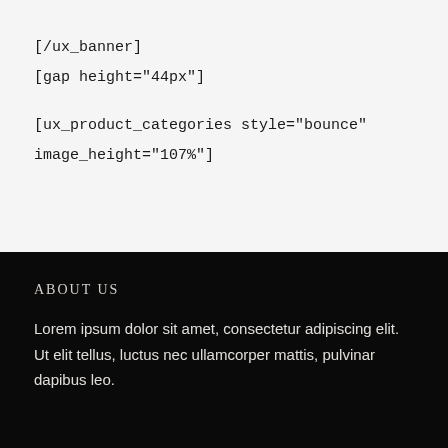[/ux_banner]
[gap height="44px"]
[ux_product_categories style="bounce" image_height="107%"]
ABOUT US
Lorem ipsum dolor sit amet, consectetur adipiscing elit. Ut elit tellus, luctus nec ullamcorper mattis, pulvinar dapibus leo.